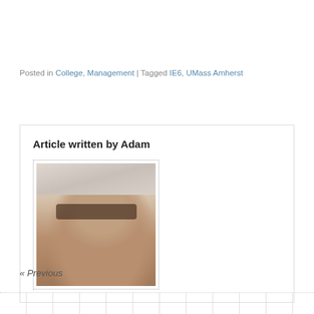Posted in College, Management | Tagged IE6, UMass Amherst
Article written by Adam
[Figure (photo): Profile photo of Adam — a man with glasses and a shaved head, photographed from slightly below against a bright sky with some structure visible]
« Previous